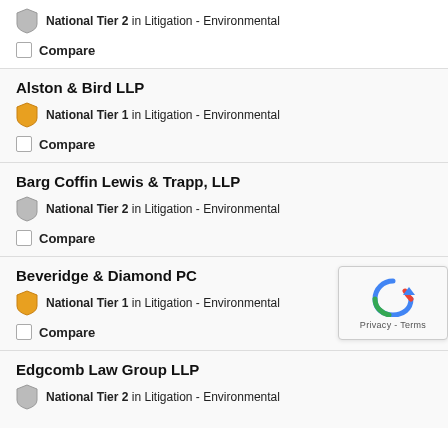National Tier 2 in Litigation - Environmental
Compare
Alston & Bird LLP
National Tier 1 in Litigation - Environmental
Compare
Barg Coffin Lewis & Trapp, LLP
National Tier 2 in Litigation - Environmental
Compare
Beveridge & Diamond PC
National Tier 1 in Litigation - Environmental
Compare
Edgcomb Law Group LLP
National Tier 2 in Litigation - Environmental